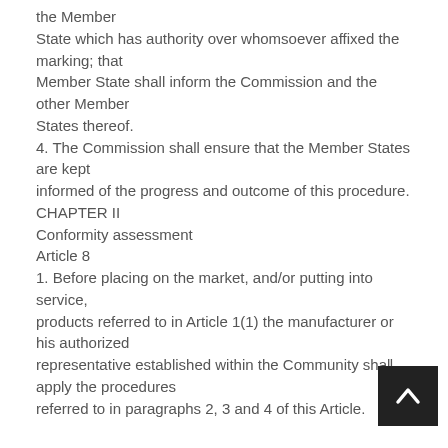the Member State which has authority over whomsoever affixed the marking; that Member State shall inform the Commission and the other Member States thereof.
4. The Commission shall ensure that the Member States are kept informed of the progress and outcome of this procedure.
CHAPTER II
Conformity assessment
Article 8
1. Before placing on the market, and/or putting into service, products referred to in Article 1(1) the manufacturer or his authorized representative established within the Community shall apply the procedures referred to in paragraphs 2, 3 and 4 of this Article.